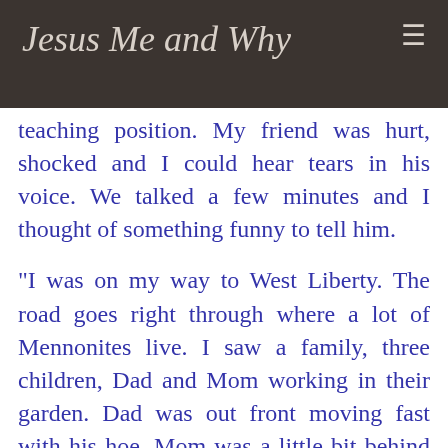Jesus Me and Why
teaching position. My friend was hurt, shocked and I could hear tears in his voice. We talked a few minutes and I thought of something funny to tell him.
"I was on my way to West Liberty. The road goes right through where a lot of Mennonites live. I saw a family, three children, Dad and Mom working in their garden. Dad was out front moving fast with his hoe, Mom was a little bit behind and the children, three boys, were strung out behind her. One of the boys raised